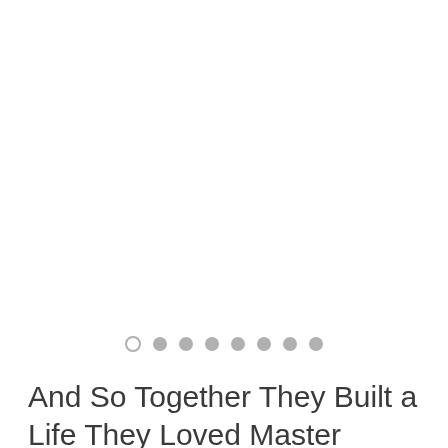[Figure (other): Image carousel dot navigation indicator: one empty circle followed by seven filled grey circles, centered horizontally on the page.]
And So Together They Built a Life They Loved Master Bedroom Decor